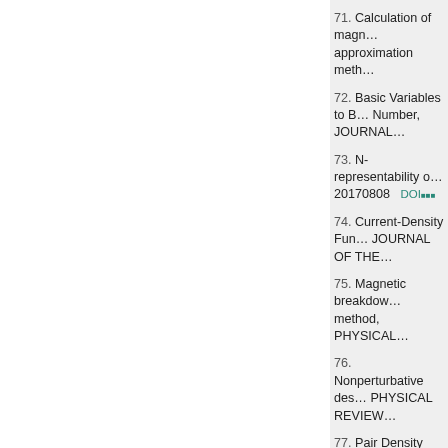71. Calculation of magn… approximation meth…
72. Basic Variables to B… Number, JOURNAL…
73. N-representability o… 20170808    DOI…
74. Current-Density Fun… JOURNAL OF THE…
75. Magnetic breakdow… method, PHYSICAL…
76. Nonperturbative des… PHYSICAL REVIEW…
77. Pair Density Functio…
78. Renormalized Molle… JOURNAL OF THE…
79. Reduced Effective g… 20190915    DOI…
80. ★, Time-dependent… PHYSICAL REVIEW…
81. Magnetic-field and t… for superconductors…